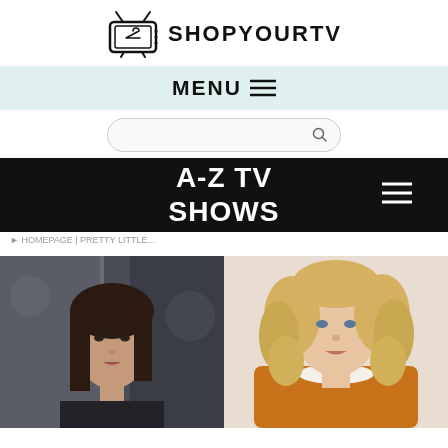SHOPYOURTV
MENU ☰
[Figure (screenshot): Search bar with magnifying glass icon]
A-Z TV SHOWS
breadcrumb navigation
[Figure (photo): Left: dark-haired woman looking to the side in a dimly lit scene. Right: blonde woman with curly hair wearing an orange/mustard sweater with white collar.]